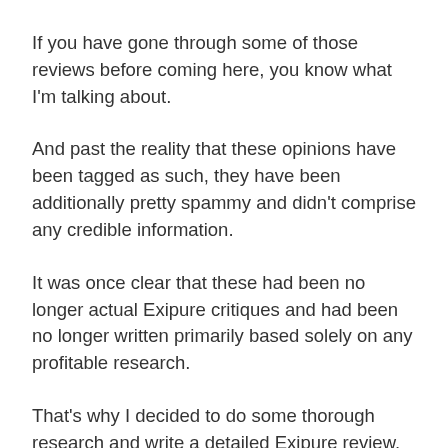If you have gone through some of those reviews before coming here, you know what I'm talking about.
And past the reality that these opinions have been tagged as such, they have been additionally pretty spammy and didn't comprise any credible information.
It was once clear that these had been no longer actual Exipure critiques and had been no longer written primarily based solely on any profitable research.
That's why I decided to do some thorough research and write a detailed Exipure review. I'm sure it can benefit you, my readers, to be